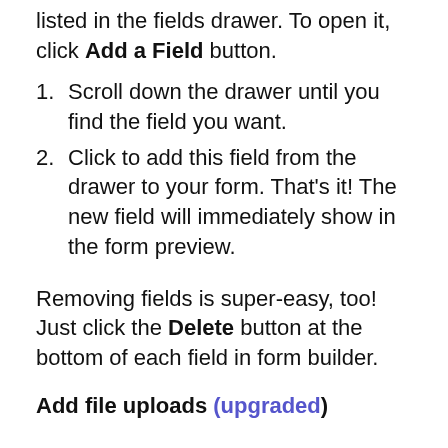listed in the fields drawer. To open it, click Add a Field button.
Scroll down the drawer until you find the field you want.
Click to add this field from the drawer to your form. That's it! The new field will immediately show in the form preview.
Removing fields is super-easy, too! Just click the Delete button at the bottom of each field in form builder.
Add file uploads (upgraded)